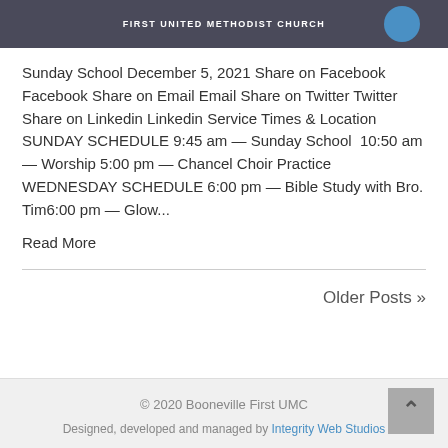[Figure (photo): Top banner with dark background showing 'FIRST UNITED METHODIST CHURCH' text in white and a blue circle on the right side]
Sunday School December 5, 2021 Share on Facebook Facebook Share on Email Email Share on Twitter Twitter Share on Linkedin Linkedin Service Times & Location SUNDAY SCHEDULE 9:45 am — Sunday School  10:50 am — Worship 5:00 pm — Chancel Choir Practice WEDNESDAY SCHEDULE 6:00 pm — Bible Study with Bro. Tim6:00 pm — Glow...
Read More
Older Posts »
© 2020 Booneville First UMC
Designed, developed and managed by Integrity Web Studios